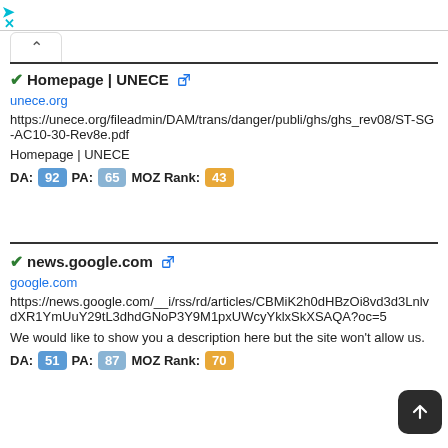Homepage | UNECE [external link icon]
unece.org
https://unece.org/fileadmin/DAM/trans/danger/publi/ghs/ghs_rev08/ST-SG-AC10-30-Rev8e.pdf
Homepage | UNECE
DA: 92  PA: 65  MOZ Rank: 43
news.google.com [external link icon]
google.com
https://news.google.com/__i/rss/rd/articles/CBMiK2h0dHBzOi8vd3d3LnlvdXR1YmUuY29tL3dhdGNoP3Y9M1pxUWcyYklxSkXSAQA?oc=5
We would like to show you a description here but the site won't allow us.
DA: 51  PA: 87  MOZ Rank: 70